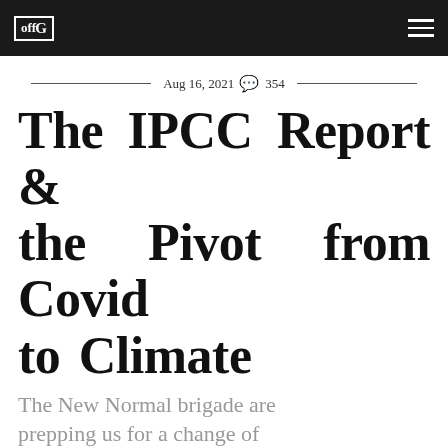offG [logo] [hamburger menu]
Aug 16, 2021  354
The IPCC Report & the Pivot from Covid to Climate
The New Normal brigade are prepping us for a change of direction.
Kit Knightly